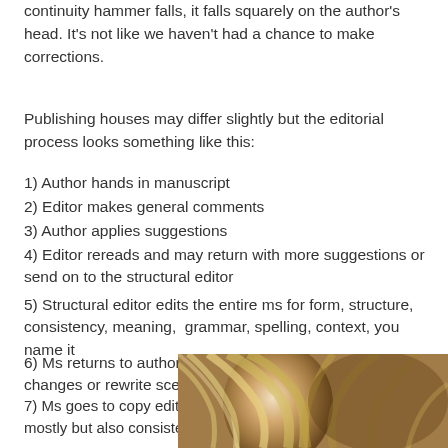continuity hammer falls, it falls squarely on the author's head. It's not like we haven't had a chance to make corrections.
Publishing houses may differ slightly but the editorial process looks something like this:
1) Author hands in manuscript
2) Editor makes general comments
3) Author applies suggestions
4) Editor rereads and may return with more suggestions or send on to the structural editor
5) Structural editor edits the entire ms for form, structure, consistency, meaning,  grammar, spelling, context, you name it
6) Ms returns to author to approve or reject suggested changes or rewrite scenes
7) Ms goes to copy editor who edits for grammar and spelling mostly but also consistency, meaning and clarity.
8) Ms returns to author to put in changes/rework
9) Ms goes to proofreaders
[Figure (photo): Partial view of a person with light/blonde hair, appears to be a portrait photo cropped at bottom right of page]